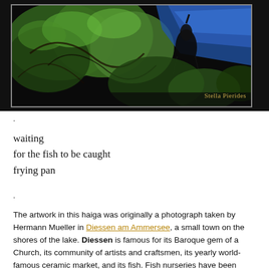[Figure (photo): Photograph of a heron or similar bird among green leafy plants and dark foliage, with a blue tarp or plastic visible. Watermark 'Stella Pierides' in gold text at bottom right. Photo set in a dark/black background with a thin grey border.]
.
waiting
for the fish to be caught
frying pan
.
The artwork in this haiga was originally a photograph taken by Hermann Mueller in Diessen am Ammersee, a small town on the shores of the lake. Diessen is famous for its Baroque gem of a Church, its community of artists and craftsmen, its yearly world-famous ceramic market, and its fish. Fish nurseries have been flourishing for a number of years here. The area is the...